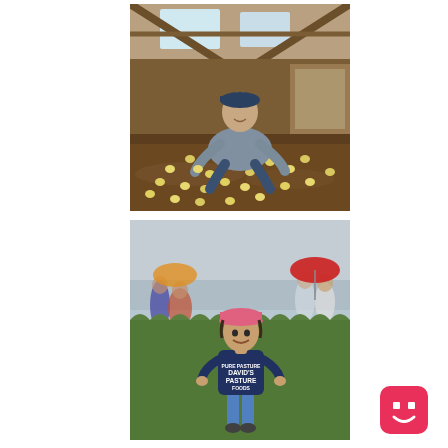[Figure (photo): A farmer crouching in a barn interior surrounded by many baby chicks (yellow chicks) on dirt floor. The barn has wooden beams and skylights. The man is smiling, wearing a cap and gray hoodie with jeans.]
[Figure (photo): A young child standing in a green grassy field, smiling, wearing a pink baseball cap and a navy t-shirt that reads 'Pure Pasture David's Pasture Foods'. In the background are several adults and colorful umbrellas (red, orange). The sky is overcast.]
[Figure (logo): A red/pink square with rounded corners containing a simple smiley face icon in white — eyes as two small squares and a smile curve.]